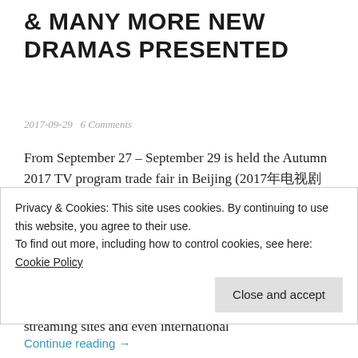& MANY MORE NEW DRAMAS PRESENTED
2017-09-29   6 Comments
From September 27 – September 29 is held the Autumn 2017 TV program trade fair in Beijing (2017秋季电视节目推介会). The trade fair is a huge event where the whole industry is coming together with over 500 companies and 2700 people participating. More than 1100 items are presented, among them dramas, web dramas, movies, animated movies and documentaries. Equally present are over 150 companies and 500 people (TV stations, online streaming sites and even international
Privacy & Cookies: This site uses cookies. By continuing to use this website, you agree to their use.
To find out more, including how to control cookies, see here: Cookie Policy
Close and accept
Continue reading →